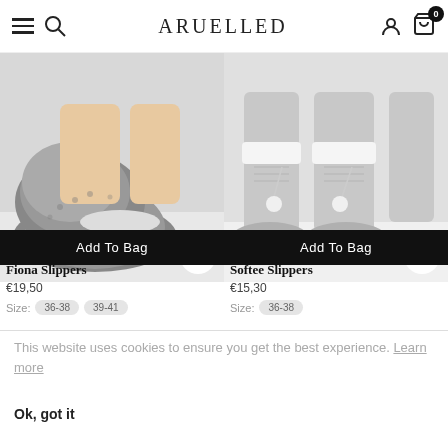ARUELLED
[Figure (photo): Photo of Fiona Slippers - grey fluffy slipper boots on a person's feet, with Add To Bag button overlay]
[Figure (photo): Photo of Softee Slippers - grey knit slipper socks with pom-poms on a person's feet, with Add To Bag button overlay]
Fiona Slippers
€19,50
Size: 36-38 39-41
Softee Slippers
€15,30
Size: 36-38
This website uses cookies to ensure you get the best experience. Learn more
Ok, got it